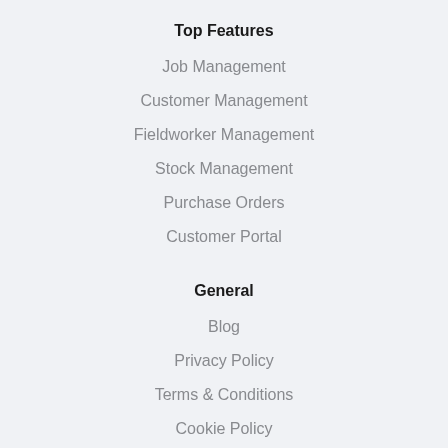Top Features
Job Management
Customer Management
Fieldworker Management
Stock Management
Purchase Orders
Customer Portal
General
Blog
Privacy Policy
Terms & Conditions
Cookie Policy